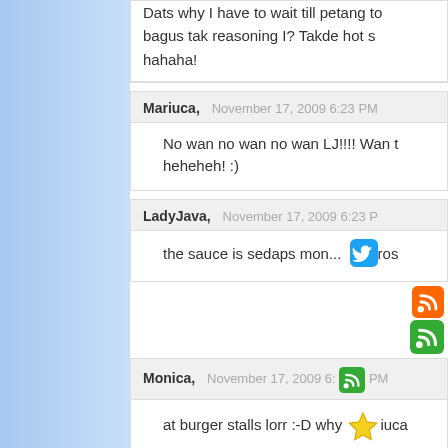Dats why I have to wait till petang to... bagus tak reasoning I? Takde hot s... hahaha!
Mariuca, November 17, 2009 6:23 PM
No wan no wan no wan LJ!!!! Wan t... heheheh! :)
LadyJava, November 17, 2009 6:23 P...
the sauce is sedaps mon...
Monica, November 17, 2009 6:... PM
at burger stalls lorr :-D why...iuca